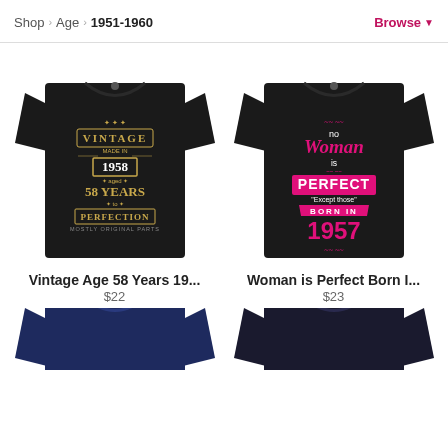Shop > Age > 1951-1960   Browse
[Figure (photo): Black t-shirt with vintage label design reading 'VINTAGE MADE IN 1958, 58 YEARS PERFECTION MOSTLY ORIGINAL PARTS']
Vintage Age 58 Years 19...
$22
[Figure (photo): Black t-shirt with pink text design reading 'No Woman is PERFECT except those BORN IN 1957']
Woman is Perfect Born I...
$23
[Figure (photo): Navy blue t-shirt partially visible at bottom of page]
[Figure (photo): Dark navy/black t-shirt partially visible at bottom of page]